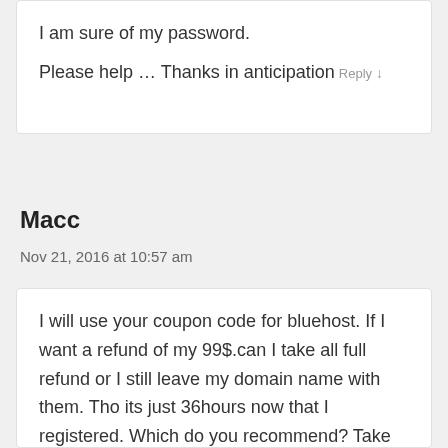I am sure of my password.
Please help … Thanks in anticipation
Reply ↓
Macc
Nov 21, 2016 at 10:57 am
I will use your coupon code for bluehost. If I want a refund of my 99$.can I take all full refund or I still leave my domain name with them. Tho its just 36hours now that I registered. Which do you recommend? Take all 99 and goto bluehost for all or take 73 and pay them for domain?